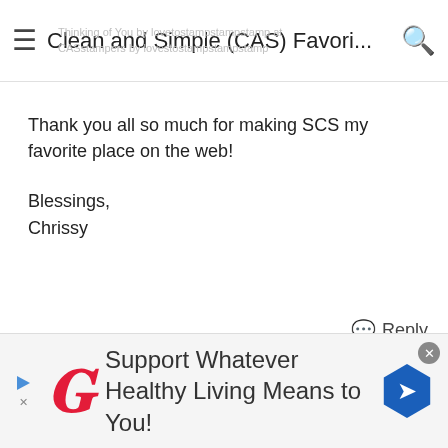Clean and Simple (CAS) Favori...
Thank you all so much for making SCS my favorite place on the web!
Blessings,
Chrissy
💬 Reply
05-27-2020 08:01 PM by lamoore   #31
Janine thanks for making my square bouquet a favorite and thanks to Karen for letting me know. It's always a delight to get a nod. Thanks for the support.
[Figure (screenshot): Walgreens advertisement banner: 'Support Whatever Healthy Living Means to You!']